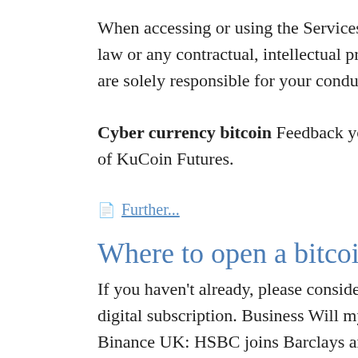When accessing or using the Services, you agree that you will not viola... law or any contractual, intellectual property or other third-party right o... are solely responsible for your conduct while using our Services.
Cyber currency bitcoin Feedback you submit is non-confidential and... of KuCoin Futures.
Further...
Where to open a bitcoin wallet
If you haven't already, please consider supporting our trusted, fact-chec... digital subscription. Business Will my energy bills rise. Here's why ene... Binance UK: HSBC joins Barclays and Clear Junction in stoppi. Busin... selling limited-edition insect-topp. Business Edinburgh hi-fi moft maki... music ph.
BusinessMost Popular Edinburgh hi-fi dealer making big mining farm b... Business How will Edinburgh's new Johnnie Walker attraction reshan...